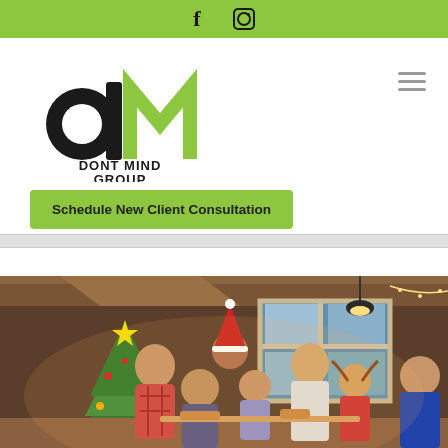Social media icons: Facebook, Instagram
[Figure (logo): Dont Mind Group logo with stylized dM letters in black and green]
Schedule New Client Consultation
[Figure (photo): Family gathering at Christmas dinner table with Christmas tree in background]